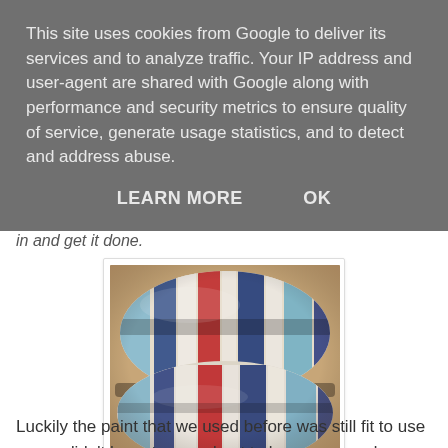This site uses cookies from Google to deliver its services and to analyze traffic. Your IP address and user-agent are shared with Google along with performance and security metrics to ensure quality of service, generate usage statistics, and to detect and address abuse.
LEARN MORE    OK
in and get it done.
[Figure (photo): Rolls of striped tape or wallpaper showing blue, white, and red vertical stripes, stacked on a wooden surface.]
Luckily the paint that we used before was still fit to use so we didn't have to spend out to buy more, and we found some bargain B&W/B wallpaper for only £7 a roll. We bought three